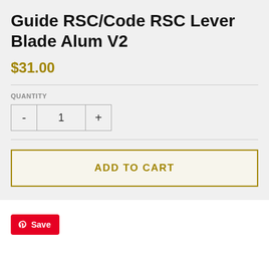Guide RSC/Code RSC Lever Blade Alum V2
$31.00
QUANTITY
1
ADD TO CART
Save